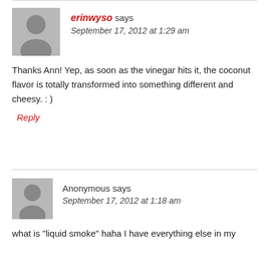erinwyso says
September 17, 2012 at 1:29 am
Thanks Ann! Yep, as soon as the vinegar hits it, the coconut flavor is totally transformed into something different and cheesy. : )
Reply
Anonymous says
September 17, 2012 at 1:18 am
what is "liquid smoke" haha I have everything else in my